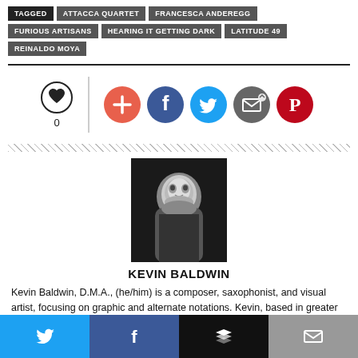TAGGED
ATTACCA QUARTET
FRANCESCA ANDEREGG
FURIOUS ARTISANS
HEARING IT GETTING DARK
LATITUDE 49
REINALDO MOYA
[Figure (infographic): Heart/like button with count 0, vertical separator, and social share icons: add/plus (orange), Facebook (blue), Twitter (light blue), email (gray), Pinterest (red)]
[Figure (photo): Black and white headshot photo of Kevin Baldwin, smiling man]
KEVIN BALDWIN
Kevin Baldwin, D.M.A., (he/him) is a composer, saxophonist, and visual artist, focusing on graphic and alternate notations. Kevin, based in greater Boston, is the founder of eyeMusic Projects, an ongoing
[Figure (infographic): Bottom navigation/share bar with four buttons: Twitter (blue), Facebook (dark blue), Buffer/layers (black), Email (gray)]